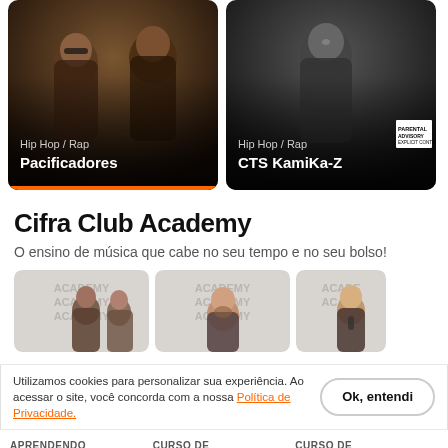[Figure (photo): Two rap artists photo card labeled Hip Hop / Rap – Pacificadores with orange bottom bar]
[Figure (photo): Rap artist photo card labeled Hip Hop / Rap – CTS KamiKa-Z]
Cifra Club Academy
O ensino de música que cabe no seu tempo e no seu bolso!
[Figure (photo): Three instructor preview cards with ACADEMY watermark text and person photos]
Utilizamos cookies para personalizar sua experiência. Ao acessar o site, você concorda com a nossa Política de Privacidade.
Ok, entendi
APRENDENDO FINGERSTYLE
Com Gustavo Fofão e Leo Eymard
CURSO DE BATERIA
Com João de Paula
CURSO DE CANTO
Com Natália San